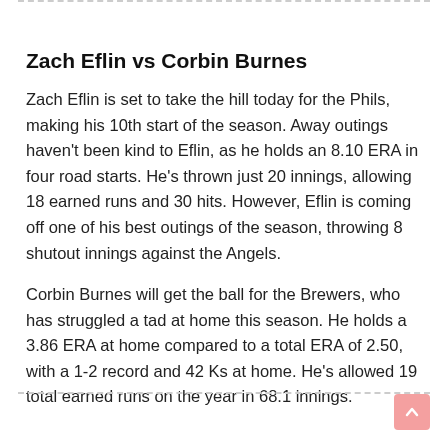Zach Eflin vs Corbin Burnes
Zach Eflin is set to take the hill today for the Phils, making his 10th start of the season. Away outings haven’t been kind to Eflin, as he holds an 8.10 ERA in four road starts. He’s thrown just 20 innings, allowing 18 earned runs and 30 hits. However, Eflin is coming off one of his best outings of the season, throwing 8 shutout innings against the Angels.
Corbin Burnes will get the ball for the Brewers, who has struggled a tad at home this season. He holds a 3.86 ERA at home compared to a total ERA of 2.50, with a 1-2 record and 42 Ks at home. He’s allowed 19 total earned runs on the year in 68.1 innings.